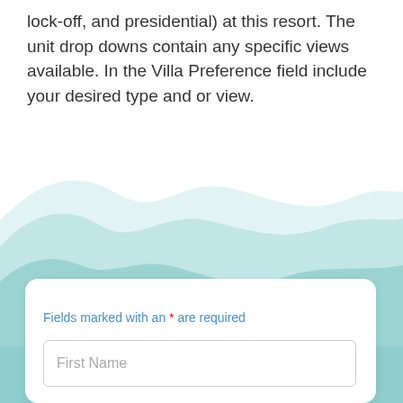lock-off, and presidential) at this resort. The unit drop downs contain any specific views available. In the Villa Preference field include your desired type and or view.
[Figure (illustration): Decorative wave illustration with layered teal/mint colored wave shapes creating a water-like background effect.]
Fields marked with an * are required
First Name